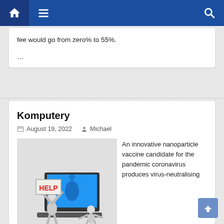Navigation bar with home, menu, and search icons
fee would go from zero% to 55%.
...
Komputery
August 19, 2022   Michael
[Figure (photo): 3D character holding a HELP sign next to a laptop computer with another figure sitting at the keyboard]
An innovative nanoparticle vaccine candidate for the pandemic coronavirus produces virus-neutralising